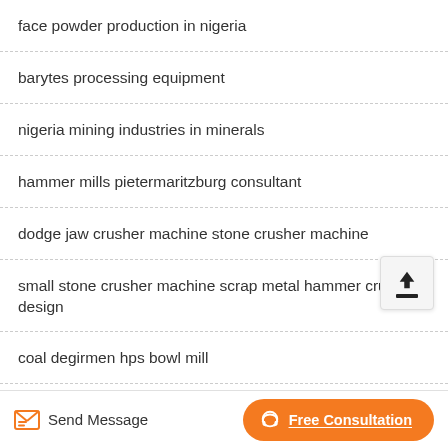face powder production in nigeria
barytes processing equipment
nigeria mining industries in minerals
hammer mills pietermaritzburg consultant
dodge jaw crusher machine stone crusher machine
small stone crusher machine scrap metal hammer crusher design
coal degirmen hps bowl mill
Send Message   Free Consultation